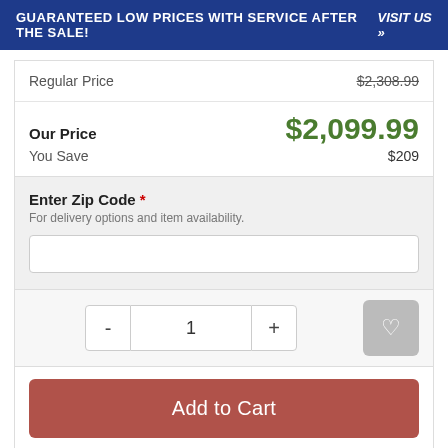GUARANTEED LOW PRICES WITH SERVICE AFTER THE SALE!  VISIT US »
| Regular Price | $2,308.99 |
| Our Price | $2,099.99 |
| You Save | $209 |
Enter Zip Code *
For delivery options and item availability.
- 1 +
Add to Cart
Share This